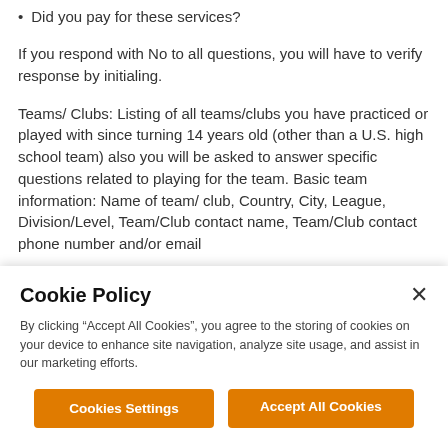Did you pay for these services?
If you respond with No to all questions, you will have to verify response by initialing.
Teams/ Clubs: Listing of all teams/clubs you have practiced or played with since turning 14 years old (other than a U.S. high school team) also you will be asked to answer specific questions related to playing for the team. Basic team information: Name of team/ club, Country, City, League, Division/Level, Team/Club contact name, Team/Club contact phone number and/or email
Cookie Policy
By clicking “Accept All Cookies”, you agree to the storing of cookies on your device to enhance site navigation, analyze site usage, and assist in our marketing efforts.
Cookies Settings
Accept All Cookies